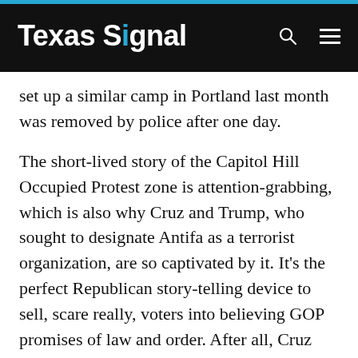Texas Signal
set up a similar camp in Portland last month was removed by police after one day.
The short-lived story of the Capitol Hill Occupied Protest zone is attention-grabbing, which is also why Cruz and Trump, who sought to designate Antifa as a terrorist organization, are so captivated by it. It's the perfect Republican story-telling device to sell, scare really, voters into believing GOP promises of law and order. After all, Cruz rode his initial Senate bid to victory over his establishment GOP opponent at the helm of the culture war-driven